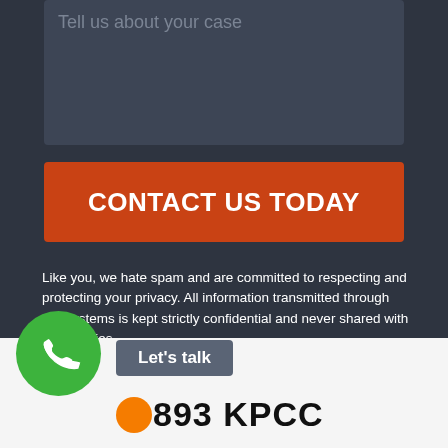[Figure (screenshot): Dark textarea input field with placeholder text 'Tell us about your case']
CONTACT US TODAY
Like you, we hate spam and are committed to respecting and protecting your privacy. All information transmitted through our systems is kept strictly confidential and never shared with third parties.
[Figure (screenshot): Bottom bar with green phone icon circle, 'Let's talk' button, and 893 KPCC logo]